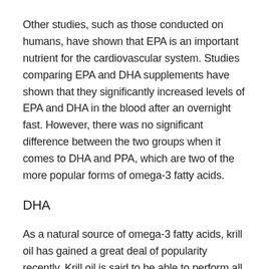Other studies, such as those conducted on humans, have shown that EPA is an important nutrient for the cardiovascular system. Studies comparing EPA and DHA supplements have shown that they significantly increased levels of EPA and DHA in the blood after an overnight fast. However, there was no significant difference between the two groups when it comes to DHA and PPA, which are two of the more popular forms of omega-3 fatty acids.
DHA
As a natural source of omega-3 fatty acids, krill oil has gained a great deal of popularity recently. Krill oil is said to be able to perform all the functions of fish oils, plus more. Krill oil